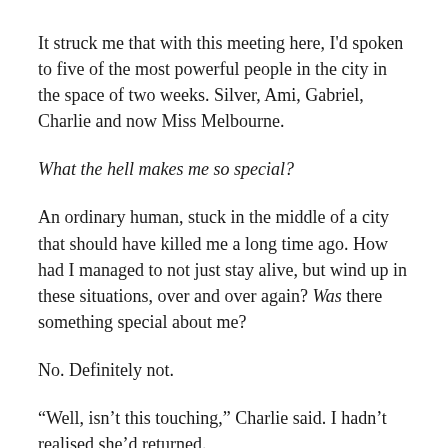It struck me that with this meeting here, I'd spoken to five of the most powerful people in the city in the space of two weeks. Silver, Ami, Gabriel, Charlie and now Miss Melbourne.
What the hell makes me so special?
An ordinary human, stuck in the middle of a city that should have killed me a long time ago. How had I managed to not just stay alive, but wind up in these situations, over and over again? Was there something special about me?
No. Definitely not.
“Well, isn’t this touching,” Charlie said. I hadn’t realised she’d returned.